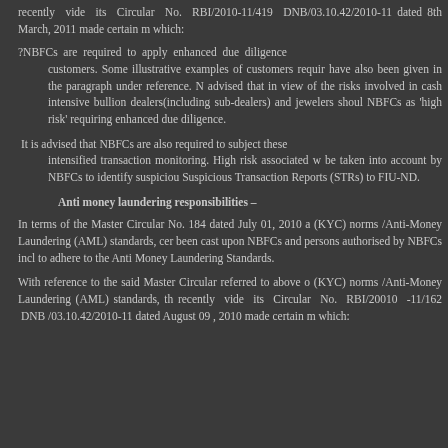recently vide its Circular No. RBI/2010-11/419 DNB/03.10.42/2010-11 dated 8th March, 2011 made certain modifications which:
?NBFCs are required to apply enhanced due diligence to customers. Some illustrative examples of customers requiring EDD have also been given in the paragraph under reference. NBFCs are advised that in view of the risks involved in cash intensive businesses, bullion dealers(including sub-dealers) and jewelers should be treated by NBFCs as 'high risk' requiring enhanced due diligence.
It is advised that NBFCs are also required to subject these customers to intensified transaction monitoring. High risk associated with them should be taken into account by NBFCs to identify suspicious transactions and file Suspicious Transaction Reports (STRs) to FIU-ND.
Anti money laundering responsibilities –
In terms of the Master Circular No. 184 dated July 01, 2010 on Know Your Customer (KYC) norms /Anti-Money Laundering (AML) standards, certain obligations have been cast upon NBFCs and persons authorised by NBFCs including their agents to adhere to the Anti Money Laundering Standards.
With reference to the said Master Circular referred to above on Know Your Customer (KYC) norms /Anti-Money Laundering (AML) standards, the Reserve Bank has recently vide its Circular No. RBI/20010 -11/162 DNB/03.10.42/2010-11 dated August 09 , 2010 made certain modifications which: